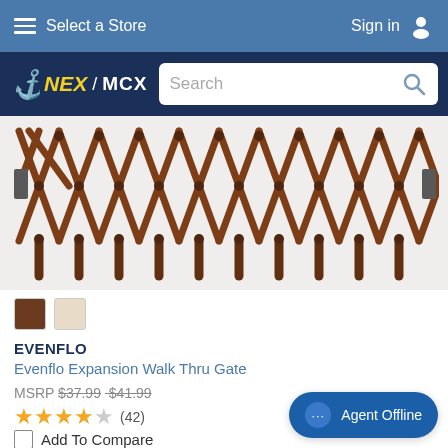Select a Store | Sign in
[Figure (screenshot): NEX MCX logo and search bar on dark navy background]
[Figure (photo): Evenflo Expansion Walk Thru Gate - brown wood lattice/accordion style gate shown expanded horizontally on white background]
[Figure (other): Two color swatches: brown and beige]
EVENFLO
Evenflo Expansion Walk Thru Gate
MSRP $37.99 $41.99
★★★★☆ (42)
Add To Compare